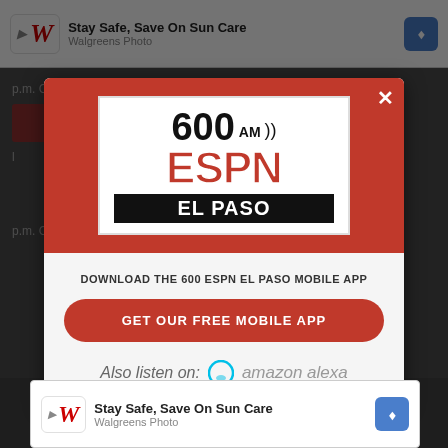[Figure (screenshot): Screenshot of a mobile website with a modal popup for 600 AM ESPN El Paso radio station app download. Background shows a Walgreens ad at top and bottom, and dimmed webpage content. The modal has a red header with the 600 AM ESPN El Paso logo, a white body with download text, a red 'GET OUR FREE MOBILE APP' button, and 'Also listen on: amazon alexa' text.]
DOWNLOAD THE 600 ESPN EL PASO MOBILE APP
GET OUR FREE MOBILE APP
Also listen on: amazon alexa